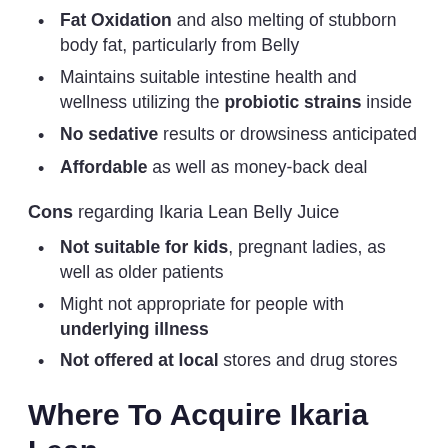Fat Oxidation and also melting of stubborn body fat, particularly from Belly
Maintains suitable intestine health and wellness utilizing the probiotic strains inside
No sedative results or drowsiness anticipated
Affordable as well as money-back deal
Cons regarding Ikaria Lean Belly Juice
Not suitable for kids, pregnant ladies, as well as older patients
Might not appropriate for people with underlying illness
Not offered at local stores and drug stores
Where To Acquire Ikaria Lean